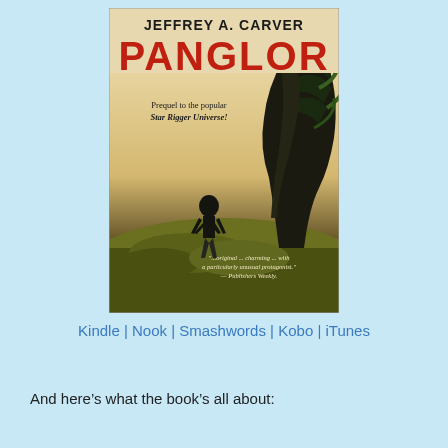[Figure (illustration): Book cover for 'Panglor' by Jeffrey A. Carver. Shows a silhouetted man standing on rocky terrain with a large dark alien creature on the right. Top has author name in dark bold text and title 'PANGLOR' in large red letters. Subtitle reads 'Prequel to the popular Star Rigger Universe!' and bottom has a Publishers Weekly quote.]
Kindle | Nook | Smashwords | Kobo | iTunes
And here’s what the book’s all about: